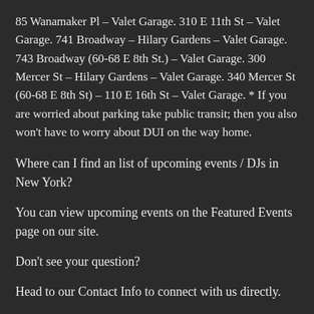85 Wanamaker Pl – Valet Garage. 310 E 11th St – Valet Garage. 741 Broadway – Hilary Gardens – Valet Garage. 743 Broadway (60-68 E 8th St.) – Valet Garage. 300 Mercer St – Hilary Gardens – Valet Garage. 340 Mercer St (60-68 E 8th St) – 110 E 16th St – Valet Garage. * If you are worried about parking take public transit; then you also won't have to worry about DUI on the way home.
Where can I find an list of upcoming events / DJs in New York?
You can view upcoming events on the Featured Events page on our site.
Don't see your question?
Head to our Contact Info to connect with us directly.